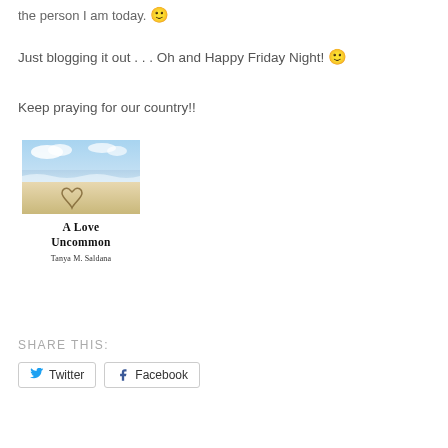the person I am today. 🙂
Just blogging it out . . . Oh and Happy Friday Night! 🙂
Keep praying for our country!!
[Figure (illustration): Book cover for 'A Love Uncommon' by Tanya M. Saldana, showing a beach scene with a heart drawn in the sand, with title and author text below the image.]
SHARE THIS:
Twitter  Facebook